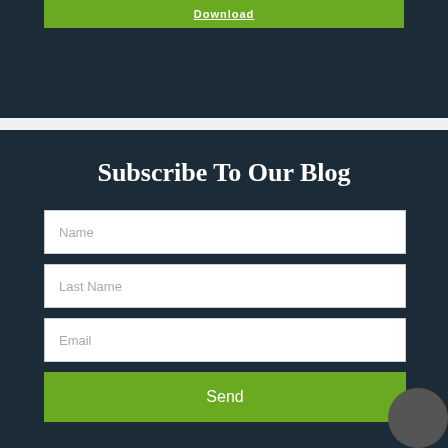[Figure (screenshot): Green download button at the top of a dark navy section]
Subscribe To Our Blog
Name
Last Name
Email
Send